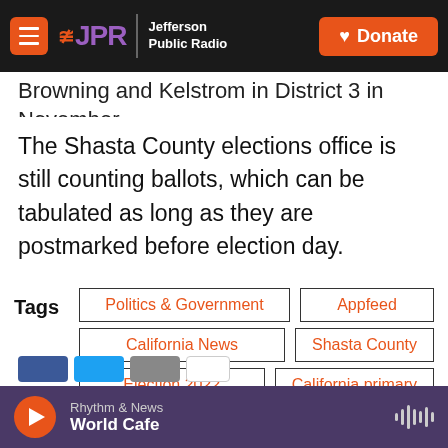JPR | Jefferson Public Radio — Donate
Browning and Kelstrom in District 3 in November.
The Shasta County elections office is still counting ballots, which can be tabulated as long as they are postmarked before election day.
Tags: Politics & Government, Appfeed, California News, Shasta County, Election 2022, California primary, Top Stories
Rhythm & News — World Cafe